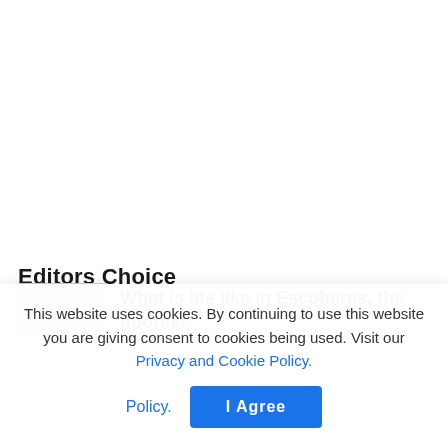Editors Choice
What is life like in Escobares, the poorest
This website uses cookies. By continuing to use this website you are giving consent to cookies being used. Visit our Privacy and Cookie Policy.
I Agree